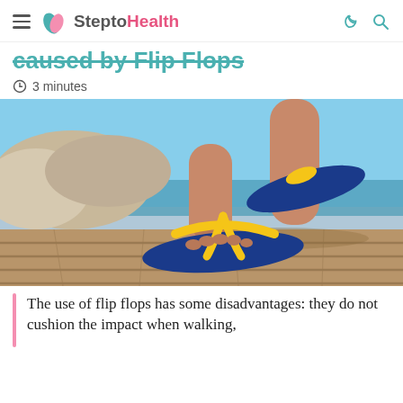SteptoHealth
caused by Flip Flops
3 minutes
[Figure (photo): Close-up of woman's feet wearing blue and yellow flip flops on a wooden boardwalk, with a beach and rocky coastline in the background.]
The use of flip flops has some disadvantages: they do not cushion the impact when walking,